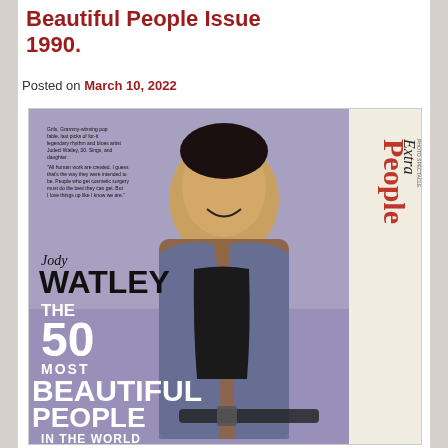Beautiful People Issue 1990.
Posted on March 10, 2022
[Figure (photo): Magazine cover of People Extra featuring Jody Watley on the cover. The cover shows 'The 50 Most Beautiful People in the World' with Jody Watley's name displayed prominently. The People Extra masthead runs vertically on the right side.]